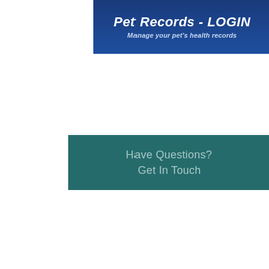[Figure (screenshot): Dark blue banner with bold italic text 'Pet Records - LOGIN' and subtitle 'Manage your pet's health records']
[Figure (screenshot): Teal/dark green banner with text 'Have Questions? Get In Touch']
[Figure (infographic): Scratchpay advertisement box with a heart icon and radiating lines on the left, and on the right: brand name 'scratchpay', tagline 'Simple, friendly payment plans.', orange button 'FIND YOUR PLAN NOW', and caption 'Checking your rate does not affect your']